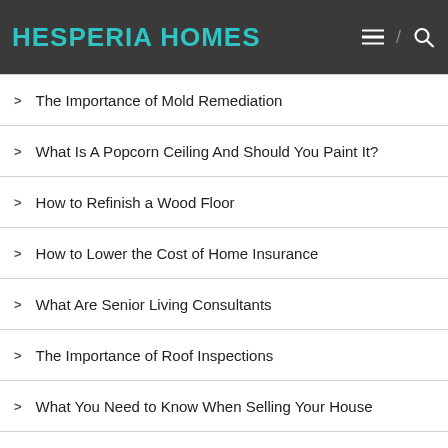HESPERIA HOMES
The Importance of Mold Remediation
What Is A Popcorn Ceiling And Should You Paint It?
How to Refinish a Wood Floor
How to Lower the Cost of Home Insurance
What Are Senior Living Consultants
The Importance of Roof Inspections
What You Need to Know When Selling Your House
A Career in Appliance Repair
Different Types of Window Shutters
What is a Nofollow Backlink?
Hiring a Plumber